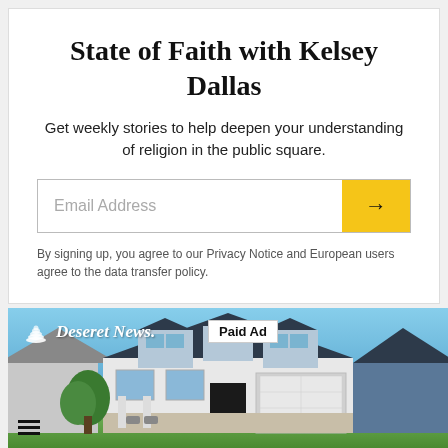State of Faith with Kelsey Dallas
Get weekly stories to help deepen your understanding of religion in the public square.
Email Address
By signing up, you agree to our Privacy Notice and European users agree to the data transfer policy.
[Figure (photo): Photo of a suburban house with blue sky background, overlaid with Deseret News logo and a 'Paid Ad' badge]